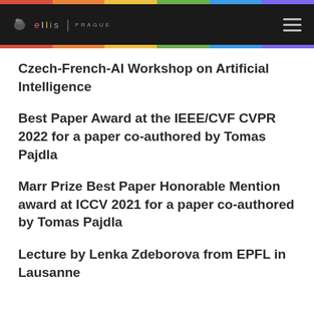ellis PRAGUE
Czech-French-AI Workshop on Artificial Intelligence
Best Paper Award at the IEEE/CVF CVPR 2022 for a paper co-authored by Tomas Pajdla
Marr Prize Best Paper Honorable Mention award at ICCV 2021 for a paper co-authored by Tomas Pajdla
Lecture by Lenka Zdeborova from EPFL in Lausanne